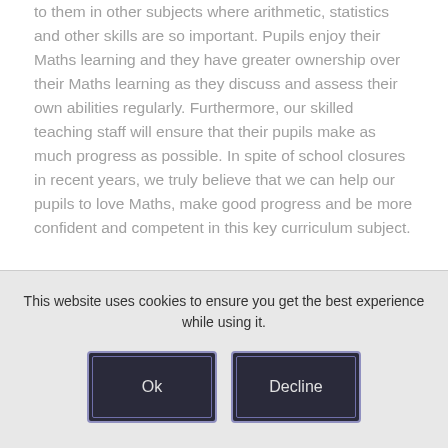to them in other subjects where arithmetic, statistics and other skills are so important. Pupils enjoy their Maths learning and they have greater ownership over their Maths learning as they discuss and assess their own abilities regularly. Furthermore, our skilled teaching staff will ensure that their pupils make as much progress as possible. In spite of school closures in recent years, we truly believe that we can help our pupils to love Maths, make good progress and be more confident and competent in this key curriculum subject.
This website uses cookies to ensure you get the best experience while using it.
[Figure (other): Cookie consent dialog with two buttons: Ok and Decline, styled with dark background and purple border]